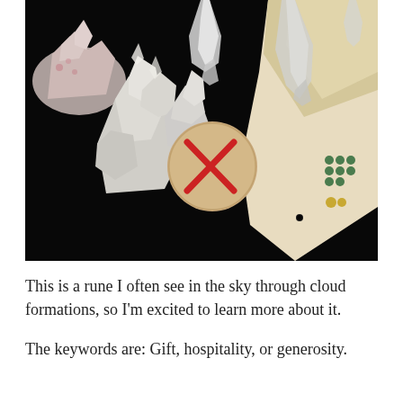[Figure (photo): A photograph on a black velvet surface showing several white quartz crystals and crystal clusters arranged around a small round wooden disc with a red X rune (Gebo) painted on it. In the upper right corner is a cream-colored satin pouch with small green and yellow gemstone decorations.]
This is a rune I often see in the sky through cloud formations, so I'm excited to learn more about it.
The keywords are: Gift, hospitality, or generosity.